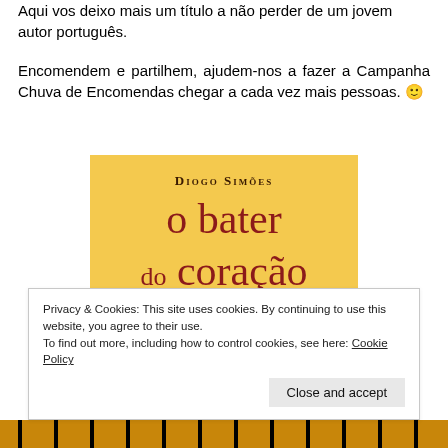Aqui vos deixo mais um título a não perder de um jovem autor português.
Encomendem e partilhem, ajudem-nos a fazer a Campanha Chuva de Encomendas chegar a cada vez mais pessoas. 🙂
[Figure (illustration): Book cover of 'o bater do coração' by Diogo Simões on a yellow background with dark red title text and a small figure at the bottom]
Privacy & Cookies: This site uses cookies. By continuing to use this website, you agree to their use.
To find out more, including how to control cookies, see here: Cookie Policy
Close and accept